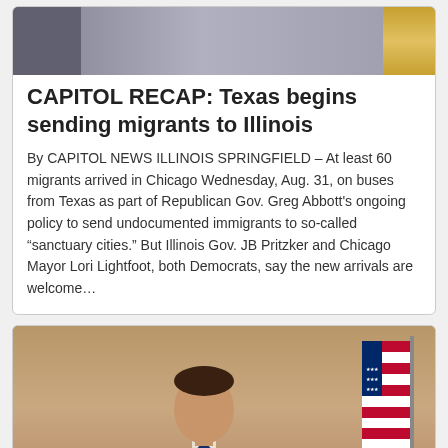[Figure (photo): News article card showing a partial photo at top with people in background (cropped), a small thumbnail on left and a yellow/gold element on right]
CAPITOL RECAP: Texas begins sending migrants to Illinois
By CAPITOL NEWS ILLINOIS SPRINGFIELD – At least 60 migrants arrived in Chicago Wednesday, Aug. 31, on buses from Texas as part of Republican Gov. Greg Abbott's ongoing policy to send undocumented immigrants to so-called “sanctuary cities.” But Illinois Gov. JB Pritzker and Chicago Mayor Lori Lightfoot, both Democrats, say the new arrivals are welcome…
[Figure (photo): Photo of Illinois Gov. JB Pritzker speaking at a microphone, wearing a blue suit and yellow tie, with an American flag visible in the background]